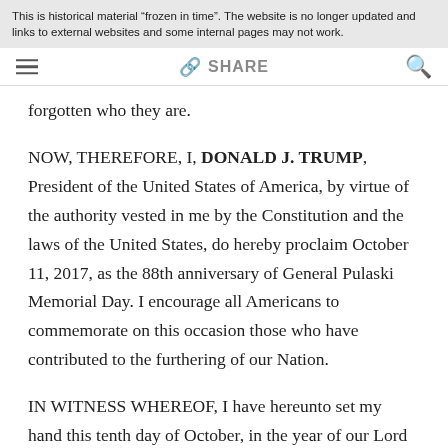This is historical material “frozen in time”. The website is no longer updated and links to external websites and some internal pages may not work.
forgotten who they are.
NOW, THEREFORE, I, DONALD J. TRUMP, President of the United States of America, by virtue of the authority vested in me by the Constitution and the laws of the United States, do hereby proclaim October 11, 2017, as the 88th anniversary of General Pulaski Memorial Day. I encourage all Americans to commemorate on this occasion those who have contributed to the furthering of our Nation.
IN WITNESS WHEREOF, I have hereunto set my hand this tenth day of October, in the year of our Lord two